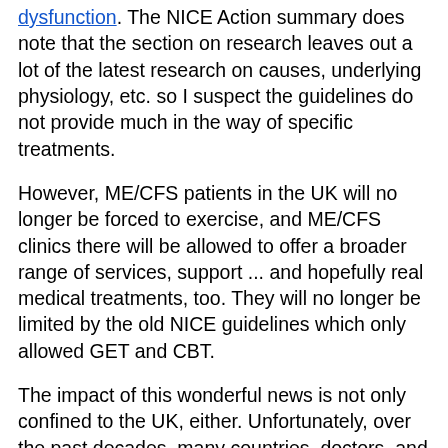dysfunction. The NICE Action summary does note that the section on research leaves out a lot of the latest research on causes, underlying physiology, etc. so I suspect the guidelines do not provide much in the way of specific treatments.
However, ME/CFS patients in the UK will no longer be forced to exercise, and ME/CFS clinics there will be allowed to offer a broader range of services, support ... and hopefully real medical treatments, too. They will no longer be limited by the old NICE guidelines which only allowed GET and CBT.
The impact of this wonderful news is not only confined to the UK, either. Unfortunately, over the past decades, many countries, doctors, and hospitals (including some of the most prestigious medical centers in the U.S., like Mayo and the Cleveland Clinic) have followed the UK's guidelines, so hopefully, this will put a stop to that also. The U.S.'s Centers for Disease Control (CDC) removed recommendations of GET and CBT from its own website guidelines, soon after the data emerged that they were harmful.
This is great news! It came about thanks to the tireless work